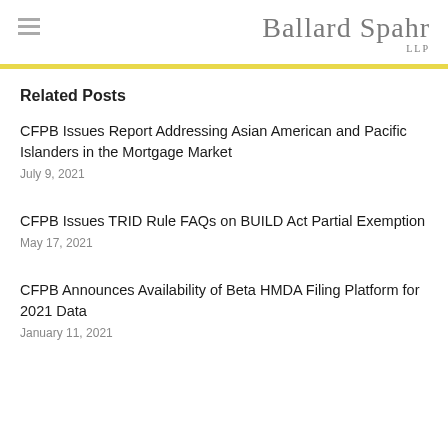Ballard Spahr LLP
Related Posts
CFPB Issues Report Addressing Asian American and Pacific Islanders in the Mortgage Market
July 9, 2021
CFPB Issues TRID Rule FAQs on BUILD Act Partial Exemption
May 17, 2021
CFPB Announces Availability of Beta HMDA Filing Platform for 2021 Data
January 11, 2021